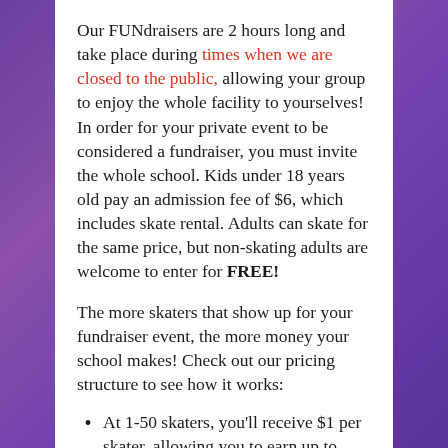Our FUNdraisers are 2 hours long and take place during times when we are closed to the public, allowing your group to enjoy the whole facility to yourselves! In order for your private event to be considered a fundraiser, you must invite the whole school. Kids under 18 years old pay an admission fee of $6, which includes skate rental. Adults can skate for the same price, but non-skating adults are welcome to enter for FREE!
The more skaters that show up for your fundraiser event, the more money your school makes! Check out our pricing structure to see how it works:
At 1-50 skaters, you'll receive $1 per skater, allowing you to earn up to $50.
At 51-100 skaters, you'll receive $2 per